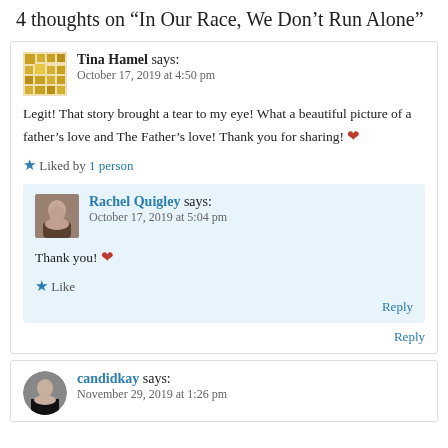4 thoughts on “In Our Race, We Don’t Run Alone”
Tina Hamel says:
October 17, 2019 at 4:50 pm
Legit! That story brought a tear to my eye! What a beautiful picture of a father’s love and The Father’s love! Thank you for sharing! ❤
★ Liked by 1 person
Reply
Rachel Quigley says:
October 17, 2019 at 5:04 pm
Thank you! ❤
★ Like
Reply
candidkay says:
November 29, 2019 at 1:26 pm